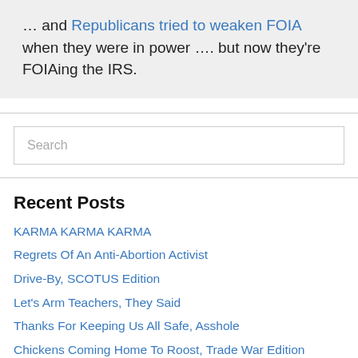… and Republicans tried to weaken FOIA when they were in power …. but now they're FOIAing the IRS.
Search
Recent Posts
KARMA KARMA KARMA
Regrets Of An Anti-Abortion Activist
Drive-By, SCOTUS Edition
Let's Arm Teachers, They Said
Thanks For Keeping Us All Safe, Asshole
Chickens Coming Home To Roost, Trade War Edition